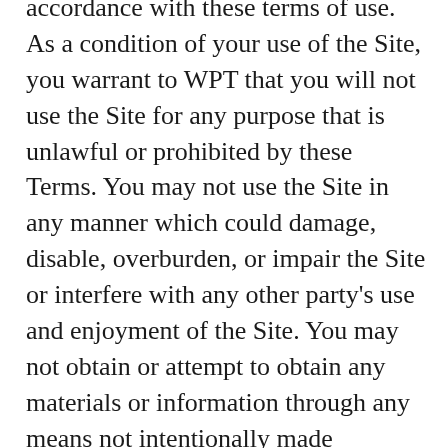accordance with these terms of use. As a condition of your use of the Site, you warrant to WPT that you will not use the Site for any purpose that is unlawful or prohibited by these Terms. You may not use the Site in any manner which could damage, disable, overburden, or impair the Site or interfere with any other party's use and enjoyment of the Site. You may not obtain or attempt to obtain any materials or information through any means not intentionally made available or provided for through the Site.
All content included as part of the Service, such as text, graphics, logos, images, as well as the compilation thereof, and any software used on the Site, is the property of WPT or its suppliers and protected by copyright and other laws that